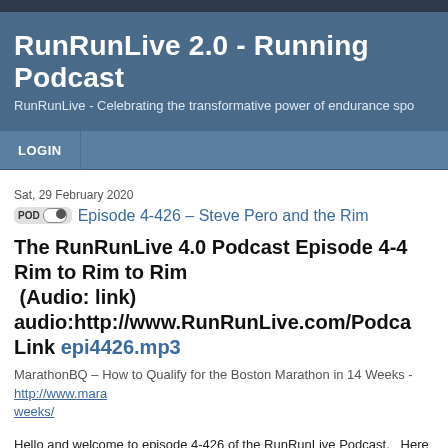RunRunLive 2.0 - Running Podcast
RunRunLive - Celebrating the transformative power of endurance spo
LOGIN
Sat, 29 February 2020
Episode 4-426 – Steve Pero and the Rim
The RunRunLive 4.0 Podcast Episode 4-426 – Steve Pero and the Rim to Rim to Rim
(Audio: link)
audio:http://www.RunRunLive.com/Podca
Link epi4426.mp3
MarathonBQ – How to Qualify for the Boston Marathon in 14 Weeks - http://www.mara weeks/
Hello and welcome to episode 4-426 of the RunRunLive Podcast.   Here we are celebra extra day to do the things we love!